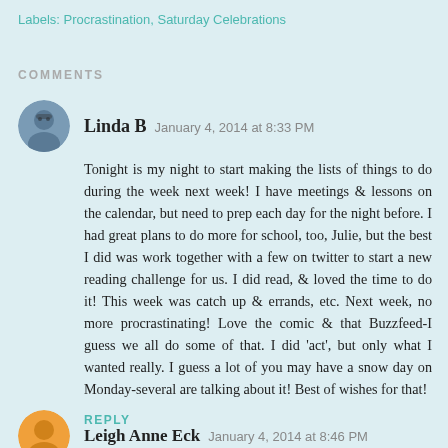Labels: Procrastination, Saturday Celebrations
COMMENTS
Linda B  January 4, 2014 at 8:33 PM
Tonight is my night to start making the lists of things to do during the week next week! I have meetings & lessons on the calendar, but need to prep each day for the night before. I had great plans to do more for school, too, Julie, but the best I did was work together with a few on twitter to start a new reading challenge for us. I did read, & loved the time to do it! This week was catch up & errands, etc. Next week, no more procrastinating! Love the comic & that Buzzfeed-I guess we all do some of that. I did 'act', but only what I wanted really. I guess a lot of you may have a snow day on Monday-several are talking about it! Best of wishes for that!
REPLY
Leigh Anne Eck  January 4, 2014 at 8:46 PM